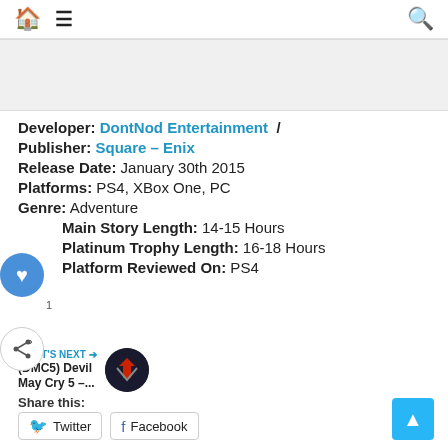Home Menu Search
[Figure (other): Advertisement placeholder banner, light gray background]
Developer: DontNod Entertainment /
Publisher: Square – Enix
Release Date: January 30th 2015
Platforms: PS4, XBox One, PC
Genre: Adventure
Main Story Length: 14-15 Hours
Platinum Trophy Length: 16-18 Hours
Platform Reviewed On: PS4
WHAT'S NEXT → (DMC5) Devil May Cry 5 –...
Share this:
Twitter Facebook